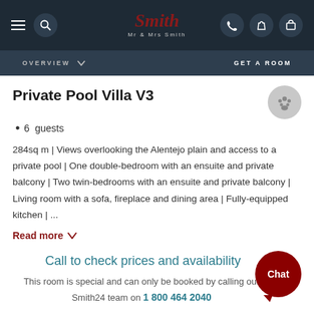Mr & Mrs Smith - navigation bar with logo, menu, search, phone, heart, and bag icons
OVERVIEW  ∨   GET A ROOM
Private Pool Villa V3
6  guests
284sq m | Views overlooking the Alentejo plain and access to a private pool | One double-bedroom with an ensuite and private balcony | Two twin-bedrooms with an ensuite and private balcony | Living room with a sofa, fireplace and dining area | Fully-equipped kitchen | ...
Read more ∨
Call to check prices and availability
This room is special and can only be booked by calling our Smith24 team on 1 800 464 2040